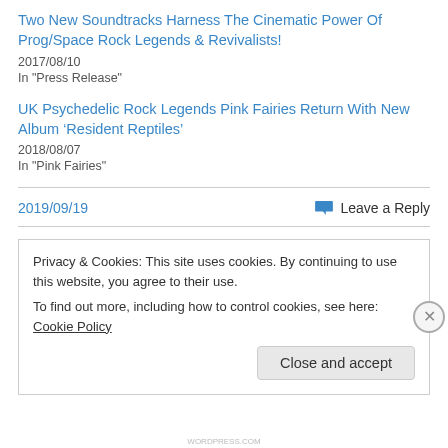Two New Soundtracks Harness The Cinematic Power Of Prog/Space Rock Legends & Revivalists!
2017/08/10
In "Press Release"
UK Psychedelic Rock Legends Pink Fairies Return With New Album ‘Resident Reptiles’
2018/08/07
In "Pink Fairies"
2019/09/19
Leave a Reply
Privacy & Cookies: This site uses cookies. By continuing to use this website, you agree to their use.
To find out more, including how to control cookies, see here: Cookie Policy
Close and accept